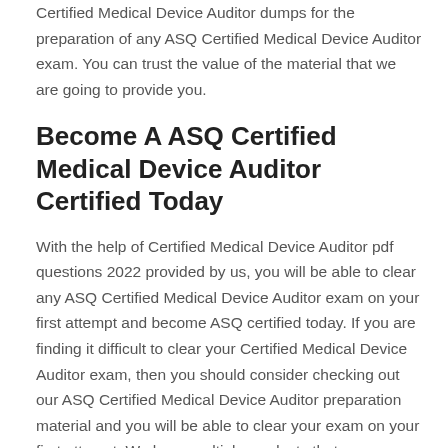Certified Medical Device Auditor dumps for the preparation of any ASQ Certified Medical Device Auditor exam. You can trust the value of the material that we are going to provide you.
Become A ASQ Certified Medical Device Auditor Certified Today
With the help of Certified Medical Device Auditor pdf questions 2022 provided by us, you will be able to clear any ASQ Certified Medical Device Auditor exam on your first attempt and become ASQ certified today. If you are finding it difficult to clear your Certified Medical Device Auditor exam, then you should consider checking out our ASQ Certified Medical Device Auditor preparation material and you will be able to clear your exam on your first attempt. We have multiple products that you can use so you can prepare for the ASQ Certified Medical Device Auditor exam easily. Moreover, you should check out our ASQ Certified Medical